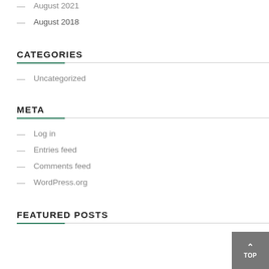August 2021
August 2018
CATEGORIES
Uncategorized
META
Log in
Entries feed
Comments feed
WordPress.org
FEATURED POSTS